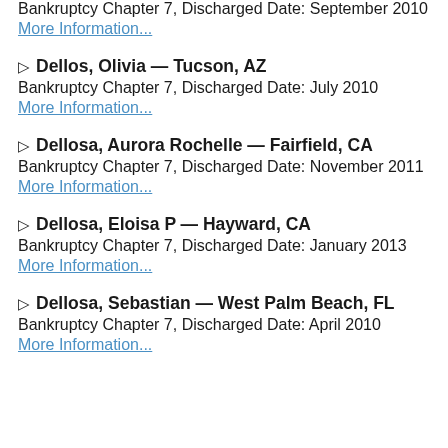Bankruptcy Chapter 7, Discharged Date: September 2010
More Information...
▷ Dellos, Olivia — Tucson, AZ
Bankruptcy Chapter 7, Discharged Date: July 2010
More Information...
▷ Dellosa, Aurora Rochelle — Fairfield, CA
Bankruptcy Chapter 7, Discharged Date: November 2011
More Information...
▷ Dellosa, Eloisa P — Hayward, CA
Bankruptcy Chapter 7, Discharged Date: January 2013
More Information...
▷ Dellosa, Sebastian — West Palm Beach, FL
Bankruptcy Chapter 7, Discharged Date: April 2010
More Information...